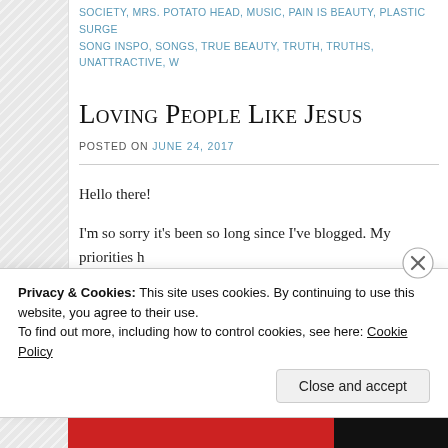SOCIETY, MRS. POTATO HEAD, MUSIC, PAIN IS BEAUTY, PLASTIC SURGE... SONG INSPO, SONGS, TRUE BEAUTY, TRUTH, TRUTHS, UNATTRACTIVE, W...
Loving People Like Jesus
POSTED ON JUNE 24, 2017
Hello there!
I'm so sorry it's been so long since I've blogged. My priorities h... upgrades for college and now that those are done it's a waiting p... back. Since that's done I'm hoping to be able to put a bit more o...
Privacy & Cookies: This site uses cookies. By continuing to use this website, you agree to their use.
To find out more, including how to control cookies, see here: Cookie Policy
Close and accept